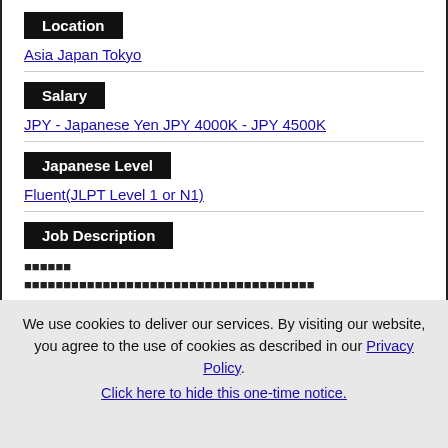Location
Asia Japan Tokyo
Salary
JPY - Japanese Yen JPY 4000K - JPY 4500K
Japanese Level
Fluent(JLPT Level 1 or N1)
Job Description
■■■■■■
■■■■■■■■■■■■■■■■■■■■■■■■■■■■■■■■■■■■■
We use cookies to deliver our services. By visiting our website, you agree to the use of cookies as described in our Privacy Policy. Click here to hide this one-time notice.